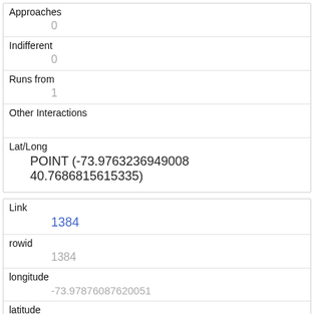| Approaches | 0 |
| Indifferent | 0 |
| Runs from | 1 |
| Other Interactions |  |
| Lat/Long | POINT (-73.9763236949008 40.7686815615335) |
| Link | 1384 |
| rowid | 1384 |
| longitude | -73.97876087620051 |
| latitude | 40.7686062296462 |
| Unique Squirrel ID | 3C-PM-1008-01 |